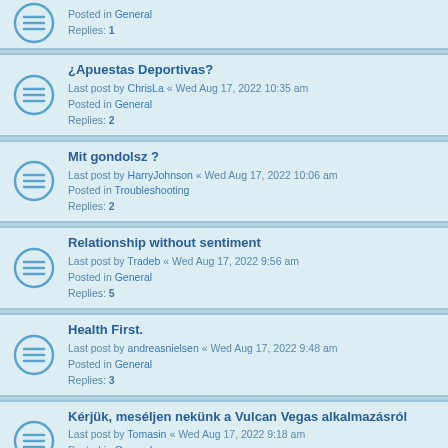Posted in General
Replies: 1
¿Apuestas Deportivas?
Last post by ChrisLa « Wed Aug 17, 2022 10:35 am
Posted in General
Replies: 2
Mit gondolsz ?
Last post by HarryJohnson « Wed Aug 17, 2022 10:06 am
Posted in Troubleshooting
Replies: 2
Relationship without sentiment
Last post by Tradeb « Wed Aug 17, 2022 9:56 am
Posted in General
Replies: 5
Health First.
Last post by andreasnielsen « Wed Aug 17, 2022 9:48 am
Posted in General
Replies: 3
Kérjük, meséljen nekünk a Vulcan Vegas alkalmazásról
Last post by Tomasin « Wed Aug 17, 2022 9:18 am
Posted in General
Replies: 1
Who needs a casino?
Last post by Dwyer « Wed Aug 17, 2022 8:35 am
Posted in General
Replies: 3
Escort
Last post by tomfors « Tue Aug 16, 2022 7:49 pm
Posted in General
Replies: 2